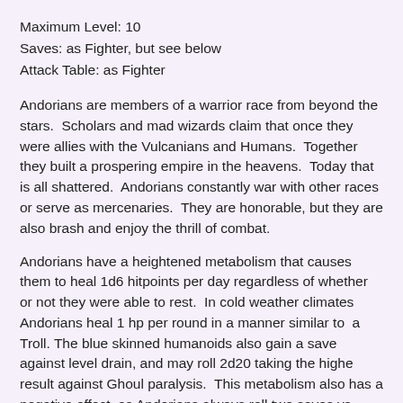Maximum Level: 10
Saves: as Fighter, but see below
Attack Table: as Fighter
Andorians are members of a warrior race from beyond the stars.  Scholars and mad wizards claim that once they were allies with the Vulcanians and Humans.  Together they built a prospering empire in the heavens.  Today that is all shattered.  Andorians constantly war with other races or serve as mercenaries.  They are honorable, but they are also brash and enjoy the thrill of combat.
Andorians have a heightened metabolism that causes them to heal 1d6 hitpoints per day regardless of whether or not they were able to rest.  In cold weather climates Andorians heal 1 hp per round in a manner similar to  a Troll. The blue skinned humanoids also gain a save against level drain, and may roll 2d20 taking the highe result against Ghoul paralysis.  This metabolism also has a negative effect, as Andorians always roll two saves vs. Poison taking the lower result.